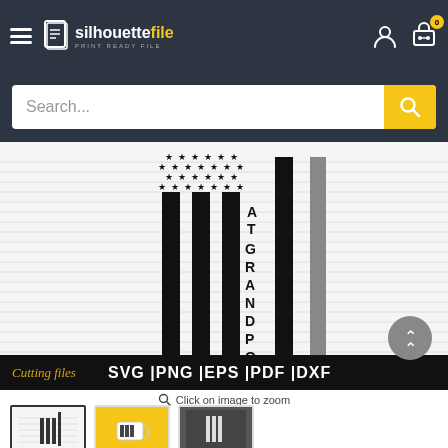silhouettefile — navigation bar with hamburger menu, logo, user icon, cart icon (0)
Search...
[Figure (screenshot): An American flag SVG design with vertical stripes and stars in the top left canton area. Text 'GRANDPOP' runs vertically between the stripes. Below the main image is a dark banner reading 'Cutting files SVG | PNG | EPS | PDF | DXF'. There is also a scroll-to-top button (grey circle with up chevron) in the bottom right of the image.]
Click on image to zoom
[Figure (screenshot): Thumbnail 1: the main flag SVG design on white background (selected)]
[Figure (screenshot): Thumbnail 2: the design printed on a white mug against yellow background]
[Figure (screenshot): Thumbnail 3: the design in a dark/nature setting]